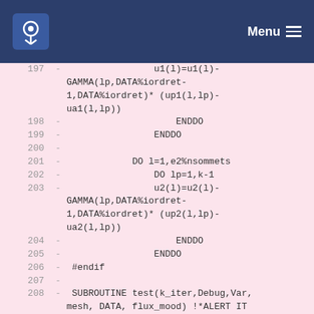Menu
197  -  u1(l)=u1(l)-GAMMA(lp,DATA%iordret-1,DATA%iordret)* (up1(l,lp)-ua1(l,lp))
198  -  ENDDO
199  -  ENDDO
200  -
201  -  DO l=1,e2%nsommets
202  -  DO lp=1,k-1
203  -  u2(l)=u2(l)-GAMMA(lp,DATA%iordret-1,DATA%iordret)* (up2(l,lp)-ua2(l,lp))
204  -  ENDDO
205  -  ENDDO
206  - #endif
207  -
208  -  SUBROUTINE test(k_iter,Debug,Var,mesh, DATA, flux_mood) !*ALERT IT WAS MOSTLY IN SP, I'M CHANGING IT